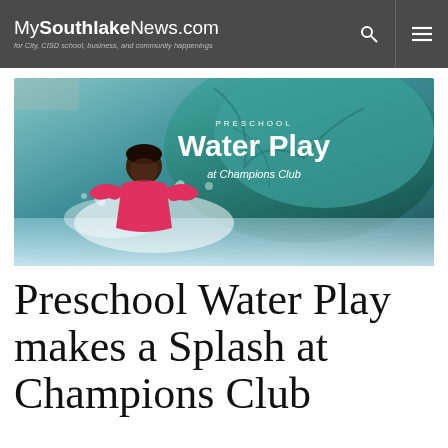MySouthlakeNews.com — for City, CISD school, business, and community happenings
[Figure (photo): Promo image for Preschool Water Play at Champions Club — a child in a pink swimsuit splashing in water in front of a teal rock feature, with overlaid text reading 'PRESCHOOL Water Play at Champions Club']
Preschool Water Play makes a Splash at Champions Club